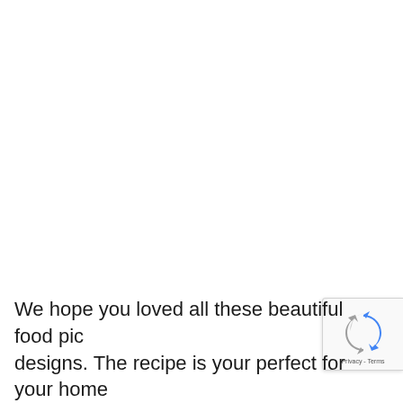We hope you loved all these beautiful food pic… designs. The recipe is your perfect for your home…
[Figure (other): reCAPTCHA badge widget in the bottom-right corner, showing the reCAPTCHA logo (blue/grey curved arrows) and 'Privacy - Terms' text below it.]